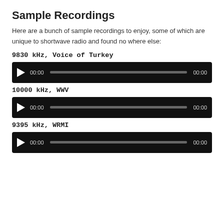Sample Recordings
Here are a bunch of sample recordings to enjoy, some of which are unique to shortwave radio and found no where else:
9830 kHz, Voice of Turkey
[Figure (other): Audio player bar with play button, progress bar, and time display showing 00:00 / 00:00]
10000 kHz, WWV
[Figure (other): Audio player bar with play button, progress bar, and time display showing 00:00 / 00:00]
9395 kHz, WRMI
[Figure (other): Audio player bar with play button, progress bar, and time display showing 00:00 / 00:00]